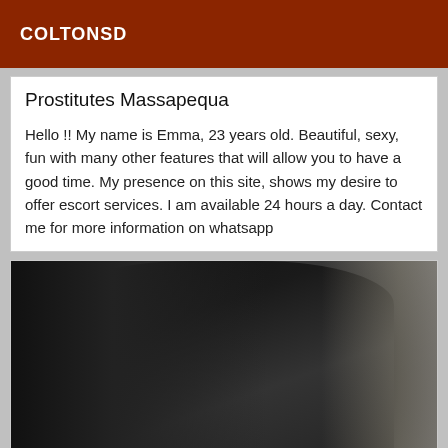COLTONSD
Prostitutes Massapequa
Hello !! My name is Emma, 23 years old. Beautiful, sexy, fun with many other features that will allow you to have a good time. My presence on this site, shows my desire to offer escort services. I am available 24 hours a day. Contact me for more information on whatsapp
[Figure (photo): Dark silhouette photo of a person wearing a black outfit]